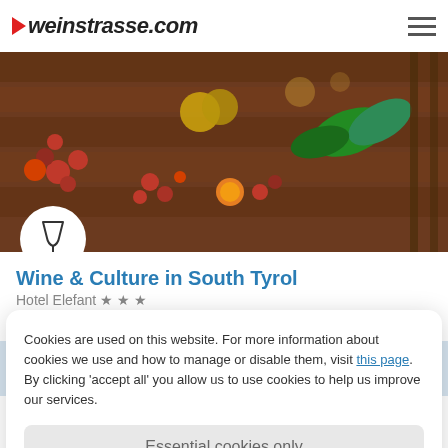►weinstrasse.com
[Figure (photo): Autumn harvest scene with chestnuts, berries, and leaves on a wooden surface]
Wine & Culture in South Tyrol
Hotel Elefant ★ ★ ★
Ora
Cookies are used on this website. For more information about cookies we use and how to manage or disable them, visit this page. By clicking 'accept all' you allow us to use cookies to help us improve our services.
Essential cookies only
Accept all
★ ★ ★
Hotel Elefant